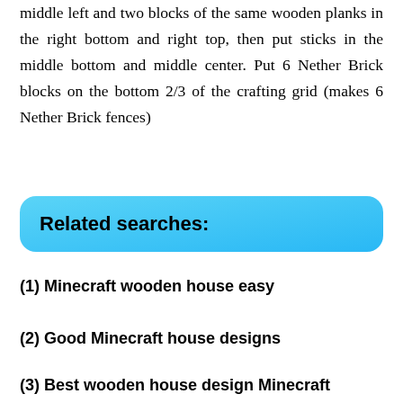middle left and two blocks of the same wooden planks in the right bottom and right top, then put sticks in the middle bottom and middle center. Put 6 Nether Brick blocks on the bottom 2/3 of the crafting grid (makes 6 Nether Brick fences)
Related searches:
(1) Minecraft wooden house easy
(2) Good Minecraft house designs
(3) Best wooden house design Minecraft